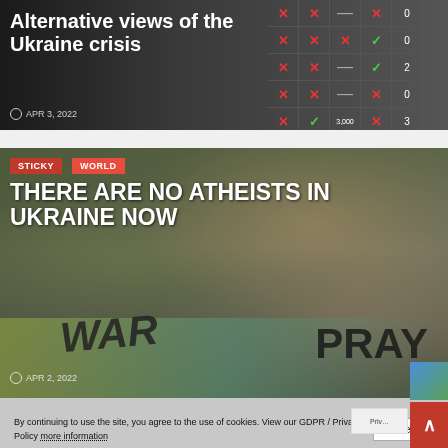[Figure (screenshot): Article card with dark background showing table/grid with X marks and checkmarks; headline 'Alternative views of the Ukraine crisis' in white text]
Alternative views of the Ukraine crisis
APR 3, 2022
[Figure (photo): Woman at protest holding teal signs reading WAR and PRAY, with Ukrainian flag colors]
STICKY
WORLD
THERE ARE NO ATHEISTS IN UKRAINE NOW
APR 2, 2022
By continuing to use the site, you agree to the use of cookies. View our GDPR / Privacy Policy more information
Accept